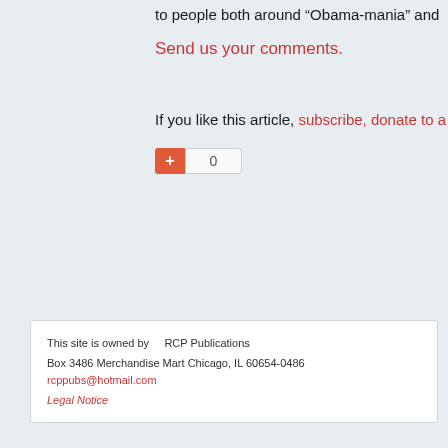to people both around “Obama-mania” and
Send us your comments.
If you like this article, subscribe, donate to a
[Figure (other): Google +1 button widget showing a red plus button and a count box displaying 0]
This site is owned by    RCP Publications
Box 3486 Merchandise Mart Chicago, IL 60654-0486
rcppubs@hotmail.com
Legal Notice